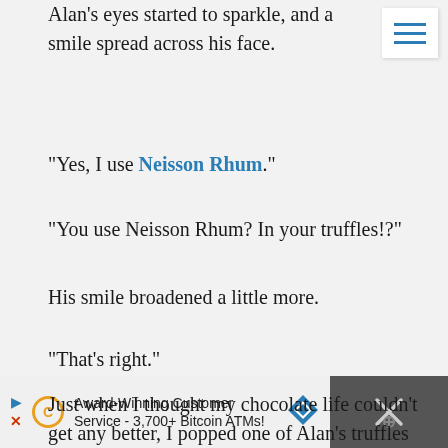Alan’s eyes started to sparkle, and a smile spread across his face.
“Yes, I use Neisson Rhum.”
“You use Neisson Rhum? In your truffles!?”
His smile broadened a little more.
“That’s right.”
Just when I thought my chocolate life couldn’t get any better, I popped one of Alan’s truffles and… I mean…
[Figure (other): Hamburger menu icon with three horizontal blue lines on white background]
[Figure (other): Advertisement bar: Award-Winning Customer Service - 3,700+ Bitcoin ATMs! with Bitcoin ATM logo and close button]